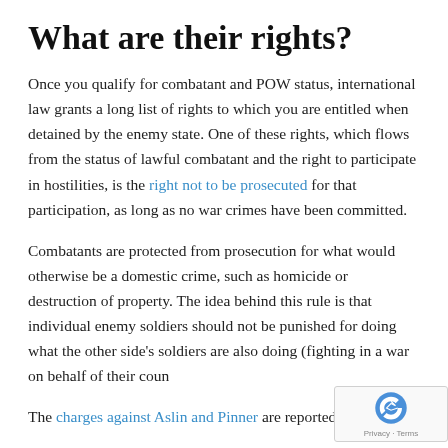What are their rights?
Once you qualify for combatant and POW status, international law grants a long list of rights to which you are entitled when detained by the enemy state. One of these rights, which flows from the status of lawful combatant and the right to participate in hostilities, is the right not to be prosecuted for that participation, as long as no war crimes have been committed.
Combatants are protected from prosecution for what would otherwise be a domestic crime, such as homicide or destruction of property. The idea behind this rule is that individual enemy soldiers should not be punished for doing what the other side's soldiers are also doing (fighting in a war on behalf of their coun...
The charges against Aslin and Pinner are reported a... follo...